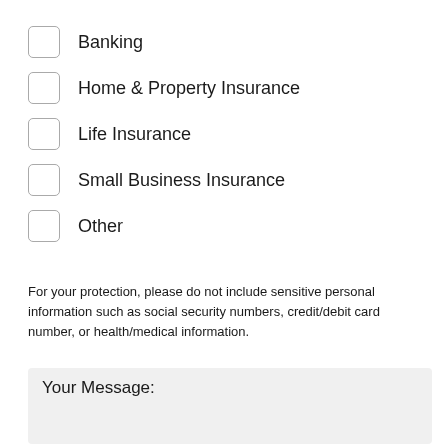Banking
Home & Property Insurance
Life Insurance
Small Business Insurance
Other
For your protection, please do not include sensitive personal information such as social security numbers, credit/debit card number, or health/medical information.
Your Message: